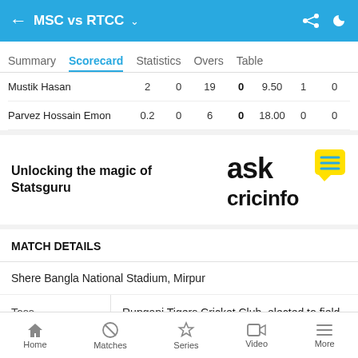MSC vs RTCC
Summary  Scorecard  Statistics  Overs  Table
| Player | Overs | Maidens | Runs | Wickets | Econ | Col7 | Col8 |
| --- | --- | --- | --- | --- | --- | --- | --- |
| Mustik Hasan | 2 | 0 | 19 | 0 | 9.50 | 1 | 0 |
| Parvez Hossain Emon | 0.2 | 0 | 6 | 0 | 18.00 | 0 | 0 |
[Figure (logo): Ask Cricinfo logo with yellow speech bubble]
Unlocking the magic of Statsguru
MATCH DETAILS
Shere Bangla National Stadium, Mirpur
Toss: Rupganj Tigers Cricket Club, elected to field first
Home  Matches  Series  Video  More